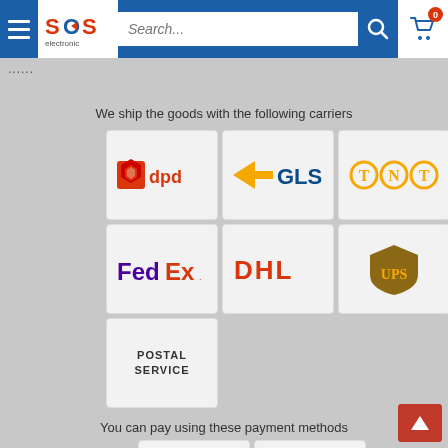[Figure (screenshot): SOS Electronic website header with hamburger menu, logo, search bar, and cart icon showing 0 items]
...
We ship the goods with the following carriers
[Figure (logo): DPD carrier logo]
[Figure (logo): GLS carrier logo]
[Figure (logo): TNT carrier logo]
[Figure (logo): FedEx carrier logo]
[Figure (logo): DHL carrier logo]
[Figure (logo): UPS carrier logo]
POSTAL SERVICE
You can pay using these payment methods
BANK TRANSFER
[Figure (logo): PayPal payment logo]